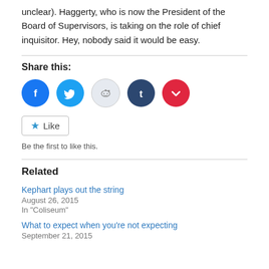unclear). Haggerty, who is now the President of the Board of Supervisors, is taking on the role of chief inquisitor. Hey, nobody said it would be easy.
Share this:
[Figure (other): Social share buttons: Facebook, Twitter, Reddit, Tumblr, Pocket]
[Figure (other): Like button with star icon]
Be the first to like this.
Related
Kephart plays out the string
August 26, 2015
In "Coliseum"
What to expect when you're not expecting
September 21, 2015